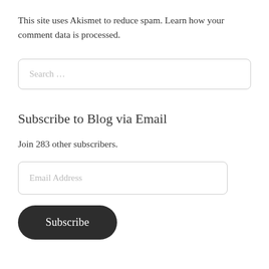This site uses Akismet to reduce spam. Learn how your comment data is processed.
Subscribe to Blog via Email
Join 283 other subscribers.